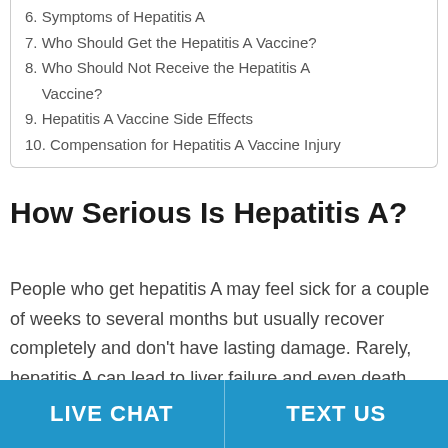6. Symptoms of Hepatitis A
7. Who Should Get the Hepatitis A Vaccine?
8. Who Should Not Receive the Hepatitis A Vaccine?
9. Hepatitis A Vaccine Side Effects
10. Compensation for Hepatitis A Vaccine Injury
How Serious Is Hepatitis A?
People who get hepatitis A may feel sick for a couple of weeks to several months but usually recover completely and don't have lasting damage. Rarely, hepatitis A can lead to liver failure and even death. This is more common in older people with other serious health issues, such as chronic liver
LIVE CHAT   TEXT US